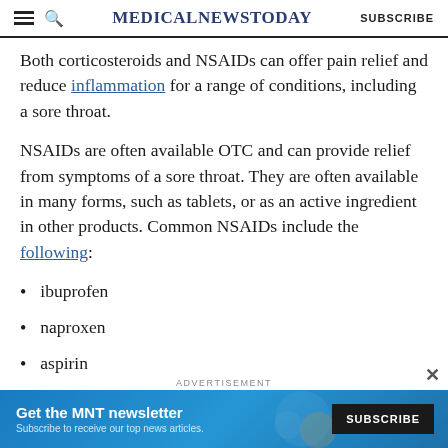MedicalNewsToday  SUBSCRIBE
Both corticosteroids and NSAIDs can offer pain relief and reduce inflammation for a range of conditions, including a sore throat.
NSAIDs are often available OTC and can provide relief from symptoms of a sore throat. They are often available in many forms, such as tablets, or as an active ingredient in other products. Common NSAIDs include the following:
ibuprofen
naproxen
aspirin